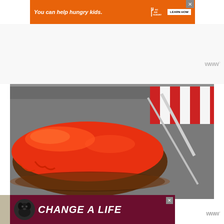[Figure (other): Orange advertisement banner: 'You can help hungry kids.' with No Kid Hungry logo and LEARN HOW button]
[Figure (photo): Close-up photo of a glazed meatloaf with bright red-orange tomato/ketchup glaze in a metal baking pan, with a spatula/utensil visible and a red and white striped cloth in the background]
[Figure (other): Dark maroon advertisement banner with a black Labrador dog image and bold italic text 'CHANGE A LIFE' in white]